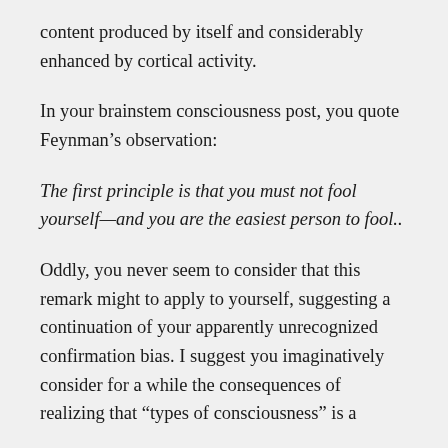content produced by itself and considerably enhanced by cortical activity.
In your brainstem consciousness post, you quote Feynman’s observation:
The first principle is that you must not fool yourself—and you are the easiest person to fool..
Oddly, you never seem to consider that this remark might to apply to yourself, suggesting a continuation of your apparently unrecognized confirmation bias. I suggest you imaginatively consider for a while the consequences of realizing that “types of consciousness” is a